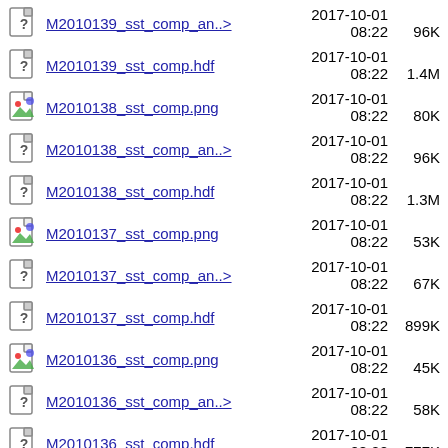M2010139_sst_comp_an..> 2017-10-01 08:22 96K
M2010139_sst_comp.hdf 2017-10-01 08:22 1.4M
M2010138_sst_comp.png 2017-10-01 08:22 80K
M2010138_sst_comp_an..> 2017-10-01 08:22 96K
M2010138_sst_comp.hdf 2017-10-01 08:22 1.3M
M2010137_sst_comp.png 2017-10-01 08:22 53K
M2010137_sst_comp_an..> 2017-10-01 08:22 67K
M2010137_sst_comp.hdf 2017-10-01 08:22 899K
M2010136_sst_comp.png 2017-10-01 08:22 45K
M2010136_sst_comp_an..> 2017-10-01 08:22 58K
M2010136_sst_comp.hdf 2017-10-01 08:22 777K
M2010135_sst_comp.png 2017-10-01 40K